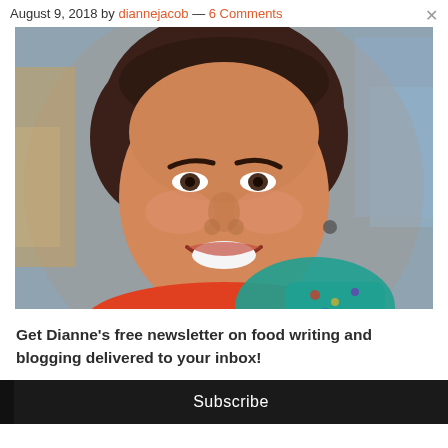August 9, 2018 by diannejacob — 6 Comments
[Figure (photo): Portrait photo of a smiling woman with dark hair, wearing a colorful teal and patterned scarf/top, photographed in front of a blurred background with cardboard boxes]
Get Dianne's free newsletter on food writing and blogging delivered to your inbox!
Subscribe